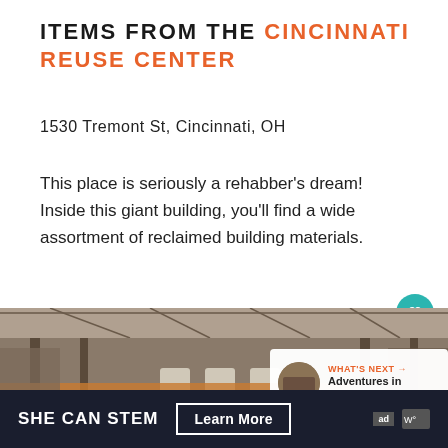ITEMS FROM THE CINCINNATI REUSE CENTER
1530 Tremont St, Cincinnati, OH
This place is seriously a rehabber's dream! Inside this giant building, you'll find a wide assortment of reclaimed building materials.
[Figure (photo): Interior of a large industrial warehouse building with high ceilings, steel trusses, arched windows, and multiple levels of shelving.]
WHAT'S NEXT → Adventures in Extreme...
SHE CAN STEM  Learn More  ad